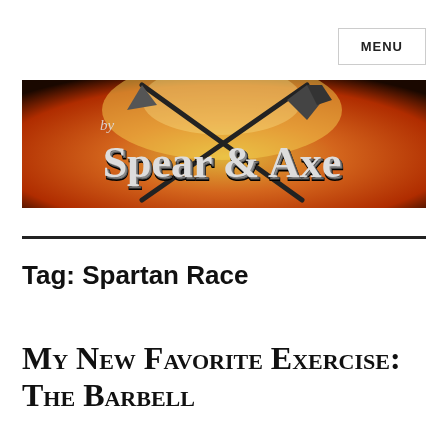MENU
[Figure (logo): By Spear & Axe logo banner with fiery orange/red background and crossed spear and axe weapons]
Tag: Spartan Race
My New Favorite Exercise: The Barbell